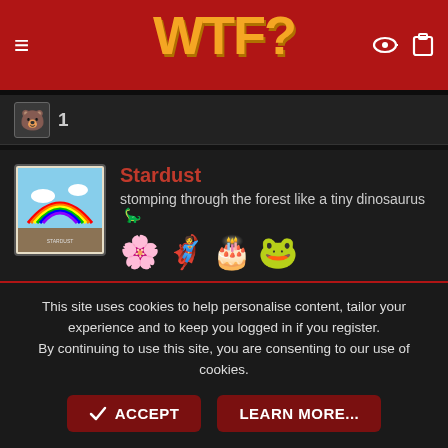WTF?
1
Stardust
stomping through the forest like a tiny dinosaurus 🦕
Sep 14, 2017  #10
@Scooter
Hah yeah! We're thinking a grey/white kitchen but letting the red stay
This site uses cookies to help personalise content, tailor your experience and to keep you logged in if you register.
By continuing to use this site, you are consenting to our use of cookies.
✔ ACCEPT
LEARN MORE...